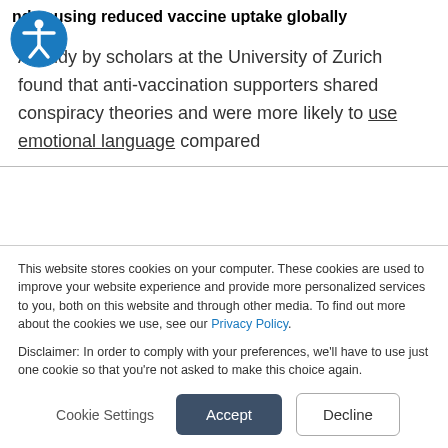vaccine safety is spreading and causing reduced vaccine uptake globally
A study by scholars at the University of Zurich found that anti-vaccination supporters shared conspiracy theories and were more likely to use emotional language compared
This website stores cookies on your computer. These cookies are used to improve your website experience and provide more personalized services to you, both on this website and through other media. To find out more about the cookies we use, see our Privacy Policy.
Disclaimer: In order to comply with your preferences, we'll have to use just one cookie so that you're not asked to make this choice again.